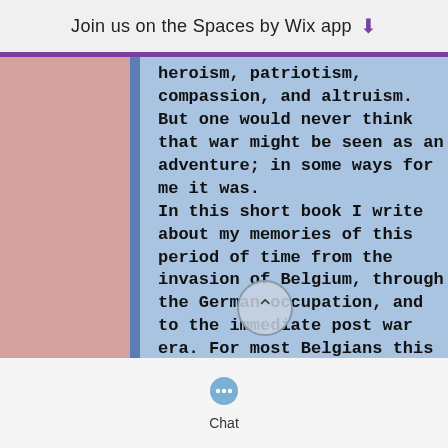Join us on the Spaces by Wix app ⬇
heroism, patriotism, compassion, and altruism. But one would never think that war might be seen as an adventure; in some ways for me it was. In this short book I write about my memories of this period of time from the invasion of Belgium, through the German occupation, and to the immediate post war era. For most Belgians this was a hard and sad time full of suffering. While I experienced some of that suffering and the fear as well many of my memories are about exciting events and
Chat